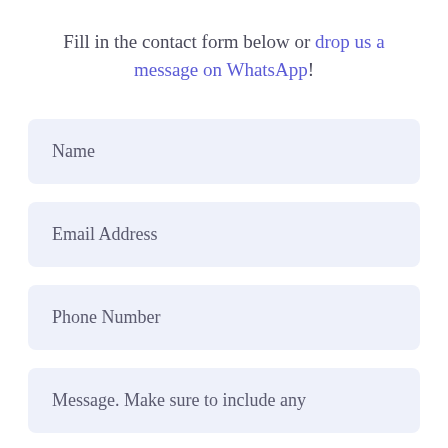Fill in the contact form below or drop us a message on WhatsApp!
Name
Email Address
Phone Number
Message. Make sure to include any